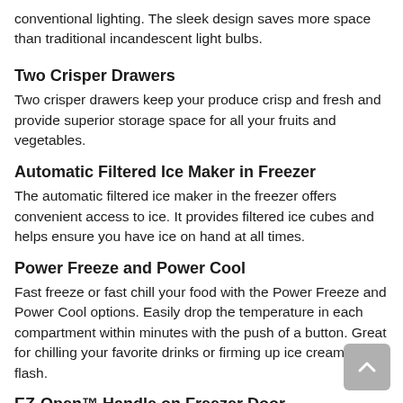conventional lighting. The sleek design saves more space than traditional incandescent light bulbs.
Two Crisper Drawers
Two crisper drawers keep your produce crisp and fresh and provide superior storage space for all your fruits and vegetables.
Automatic Filtered Ice Maker in Freezer
The automatic filtered ice maker in the freezer offers convenient access to ice. It provides filtered ice cubes and helps ensure you have ice on hand at all times.
Power Freeze and Power Cool
Fast freeze or fast chill your food with the Power Freeze and Power Cool options. Easily drop the temperature in each compartment within minutes with the push of a button. Great for chilling your favorite drinks or firming up ice cream in a flash.
EZ-Open™ Handle on Freezer Door